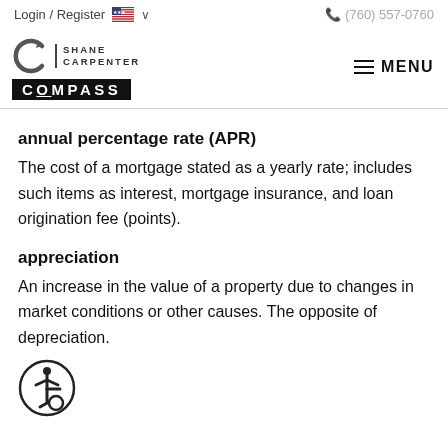Login / Register   🇺🇸 ∨   (760) 557-0760
[Figure (logo): Shane Carpenter Compass real estate logo with circular arrow emblem and COMPASS text on black background]
annual percentage rate (APR)
The cost of a mortgage stated as a yearly rate; includes such items as interest, mortgage insurance, and loan origination fee (points).
appreciation
An increase in the value of a property due to changes in market conditions or other causes. The opposite of depreciation.
[Figure (illustration): Accessibility icon (wheelchair symbol in circle)]